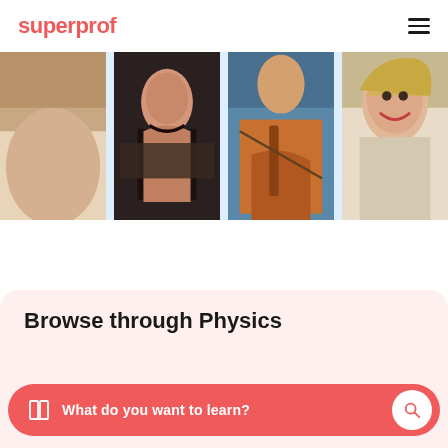superprof
[Figure (photo): A horizontal strip of four circular/rectangular cropped photos of tutors: person with elbow, young woman playing piano, person playing violin, smiling blonde woman]
Browse through Physics
What do you want to learn?